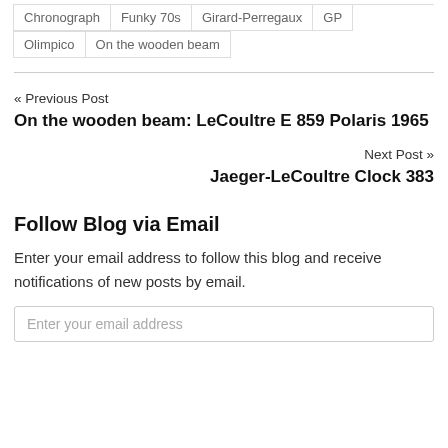Chronograph
Funky 70s
Girard-Perregaux
GP
Olimpico
On the wooden beam
« Previous Post
On the wooden beam: LeCoultre E 859 Polaris 1965
Next Post »
Jaeger-LeCoultre Clock 383
Follow Blog via Email
Enter your email address to follow this blog and receive notifications of new posts by email.
Enter your email address